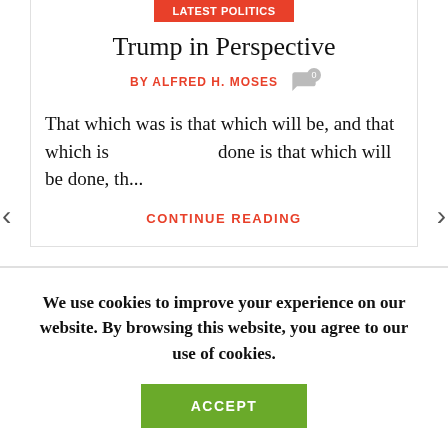Latest Politics
Trump in Perspective
BY ALFRED H. MOSES
That which was is that which will be, and that which is done is that which will be done, th...
CONTINUE READING
We use cookies to improve your experience on our website. By browsing this website, you agree to our use of cookies.
ACCEPT